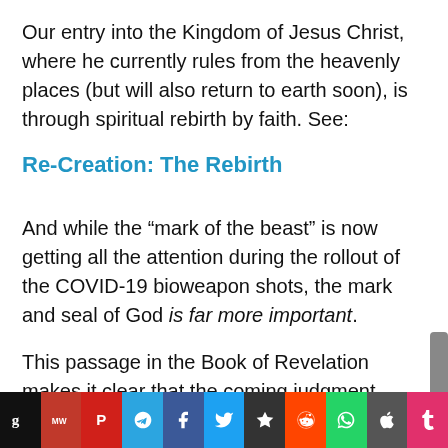Our entry into the Kingdom of Jesus Christ, where he currently rules from the heavenly places (but will also return to earth soon), is through spiritual rebirth by faith. See:
Re-Creation: The Rebirth
And while the “mark of the beast” is now getting all the attention during the rollout of the COVID-19 bioweapon shots, the mark and seal of God is far more important.
This passage in the Book of Revelation makes it clear that the coming judgment
g  MW  P  [telegram]  f  [twitter]  *  [reddit]  [whatsapp]  [apple]  t